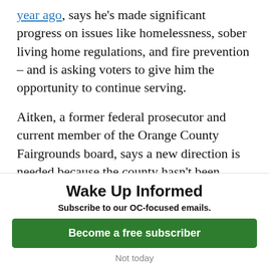year ago, says he's made significant progress on issues like homelessness, sober living home regulations, and fire prevention – and is asking voters to give him the opportunity to continue serving.

Aitken, a former federal prosecutor and current member of the Orange County Fairgrounds board, says a new direction is needed because the county hasn't been proactive in creating housing needed to get
Wake Up Informed
Subscribe to our OC-focused emails.
Become a free subscriber
Not today